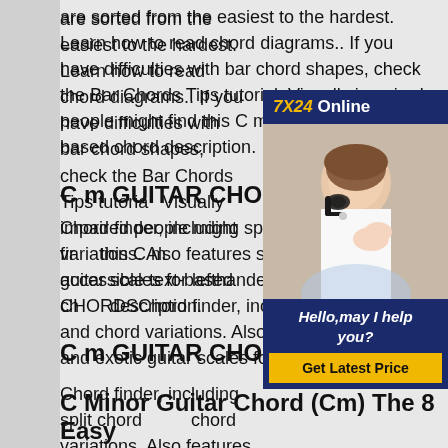are sorted from the easiest to the hardest. Learn how to read chord diagrams.. If you have difficulties with bar chord shapes, check the Bar Chords Tips tutorial. Visually impaired people might find this C m accessible text-based chord description.
[Figure (photo): Customer service advertisement with '7X24 Online' header, photo of woman with headset, and 'Hello, may I help you?' with 'Get Latest Price' button]
C m GUITAR CHORDS
Chord finder, including split chords and chord variations. Also features standard and exotic guitar scales for lefthanded guitar.C m GUITAR CHORDSChord finder, including split chords and chord variations. Also features standard and exotic guitar scales for lefthanded guitar.
C Minor Guitar Chord (Cm) The 8 Easy